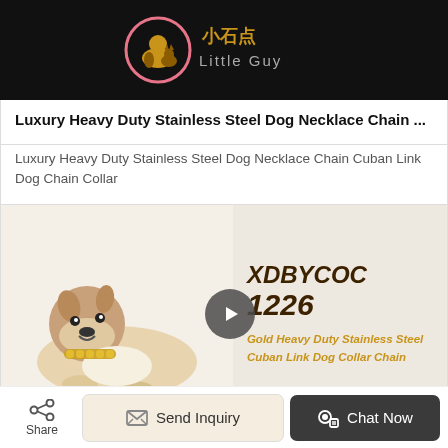[Figure (logo): Little Guy pet brand logo — circle with dog and cat silhouettes in pink, with Chinese characters 小石点 and text 'Little Guy' on black background]
Luxury Heavy Duty Stainless Steel Dog Necklace Chain ...
Luxury Heavy Duty Stainless Steel Dog Necklace Chain Cuban Link Dog Chain Collar
[Figure (photo): Product photo of a dog figurine (lying bulldog/boxer) wearing a gold Cuban link chain collar, with a play button overlay. Right panel shows product code XDBYCOC 1226 and description 'Gold Heavy Duty Stainless Steel Cuban Link Dog Collar Chain' in dark brown and gold italic bold text on beige background.]
Share
Send Inquiry
Chat Now